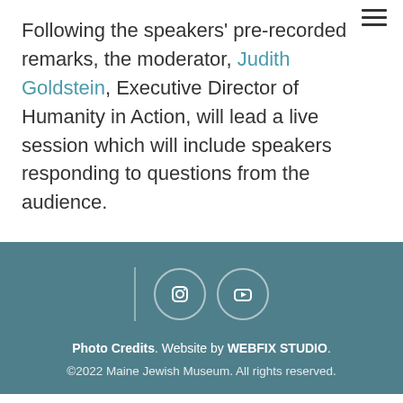Following the speakers' pre-recorded remarks, the moderator, Judith Goldstein, Executive Director of Humanity in Action, will lead a live session which will include speakers responding to questions from the audience.
[Figure (other): Footer section with teal background containing a vertical divider line, Instagram icon circle, YouTube icon circle, photo credits text, and copyright notice.]
Photo Credits. Website by WEBFIX STUDIO. ©2022 Maine Jewish Museum. All rights reserved.